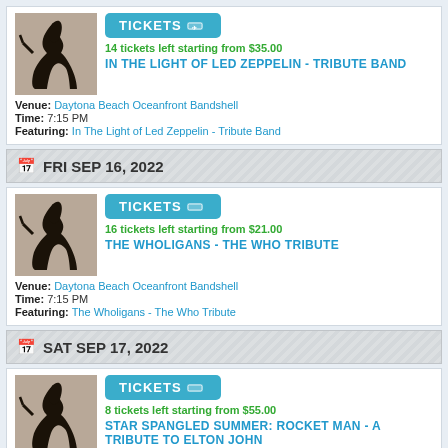[Figure (illustration): Silhouette of a singer performing]
TICKETS
14 tickets left starting from $35.00
IN THE LIGHT OF LED ZEPPELIN - TRIBUTE BAND
Venue: Daytona Beach Oceanfront Bandshell
Time: 7:15 PM
Featuring: In The Light of Led Zeppelin - Tribute Band
FRI SEP 16, 2022
[Figure (illustration): Silhouette of a singer performing]
TICKETS
16 tickets left starting from $21.00
THE WHOLIGANS - THE WHO TRIBUTE
Venue: Daytona Beach Oceanfront Bandshell
Time: 7:15 PM
Featuring: The Wholigans - The Who Tribute
SAT SEP 17, 2022
[Figure (illustration): Silhouette of a singer performing]
TICKETS
8 tickets left starting from $55.00
STAR SPANGLED SUMMER: ROCKET MAN - A TRIBUTE TO ELTON JOHN